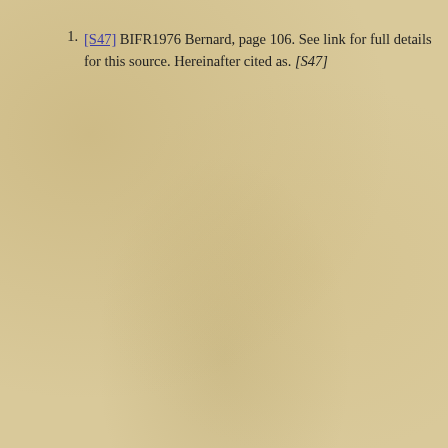[S47] BIFR1976 Bernard, page 106. See link for full details for this source. Hereinafter cited as. [S47]